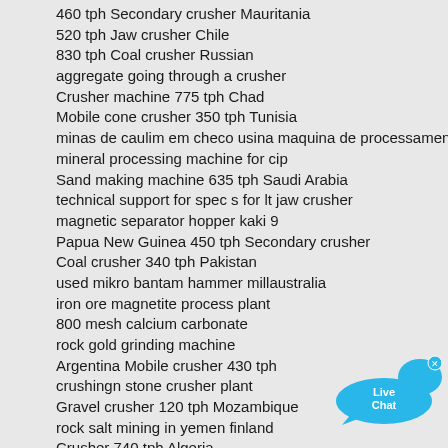460 tph Secondary crusher Mauritania
520 tph Jaw crusher Chile
830 tph Coal crusher Russian
aggregate going through a crusher
Crusher machine 775 tph Chad
Mobile cone crusher 350 tph Tunisia
minas de caulim em checo usina maquina de processamento
mineral processing machine for cip
Sand making machine 635 tph Saudi Arabia
technical support for spec s for lt jaw crusher
magnetic separator hopper kaki 9
Papua New Guinea 450 tph Secondary crusher
Coal crusher 340 tph Pakistan
used mikro bantam hammer millaustralia
iron ore magnetite process plant
800 mesh calcium carbonate
rock gold grinding machine
Argentina Mobile crusher 430 tph
crushingn stone crusher plant
Gravel crusher 120 tph Mozambique
rock salt mining in yemen finland
Crusher 740 tph Algeria
The Impact Of Phosphate Industry In Economy
China 660 tph Quarry machine
Mobile cone crusher 660 tph United Arab Emirates
[Figure (other): Live Chat widget — blue speech bubble with 'Live Chat' text and a small x close button]